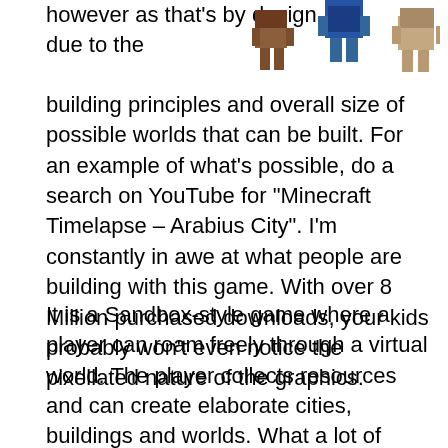however as that's by design due to the building principles and overall size of possible worlds that can be built.  For an example of what's possible, do a search on YouTube for “Minecraft Timelapse – Arabius City”. I’m constantly in awe at what people are building with this game. With over 8 Million purchased downloads, your kids probably won’t even notice the pixellated nature of the graphics.
[Figure (illustration): Minecraft character figures/blocks shown from a top-right perspective, including cube-shaped characters in brown, blue, and tan colors]
It is a Sandbox-style game where a player can roam freely through a virtual world. The player collects resources and can create elaborate cities, buildings and worlds. What a lot of people don’t know is that there is a version called MinecraftEdu for schools. Educators are finding that Minecraft is effective for engaging students, creative thinking and problem solving. Game-based learning, virtual worlds, and simulations are emerging in